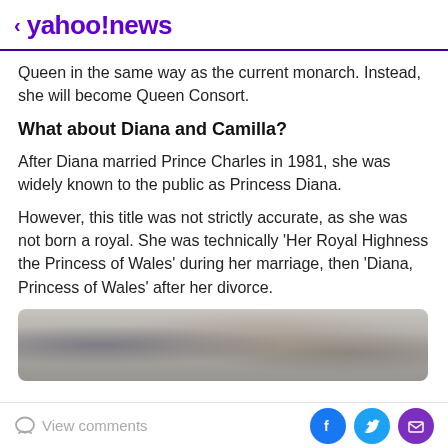< yahoo!news
Queen in the same way as the current monarch. Instead, she will become Queen Consort.
What about Diana and Camilla?
After Diana married Prince Charles in 1981, she was widely known to the public as Princess Diana.
However, this title was not strictly accurate, as she was not born a royal. She was technically 'Her Royal Highness the Princess of Wales' during her marriage, then 'Diana, Princess of Wales' after her divorce.
[Figure (photo): Blurred/cropped photo at bottom of article]
View comments | Share via Facebook, Twitter, Email